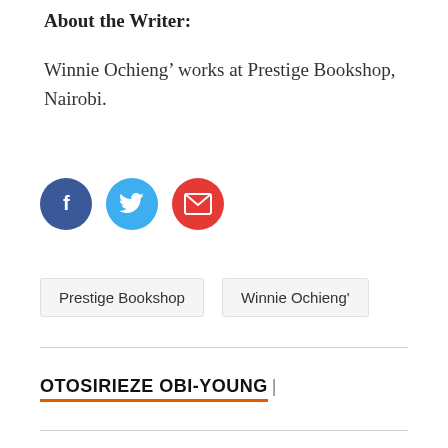About the Writer:
Winnie Ochieng' works at Prestige Bookshop, Nairobi.
[Figure (infographic): Three social media icon buttons: Facebook (dark blue circle with 'f'), Twitter (light blue circle with bird icon), Email (red circle with envelope icon)]
Prestige Bookshop   Winnie Ochieng'
OTOSIRIEZE OBI-YOUNG |